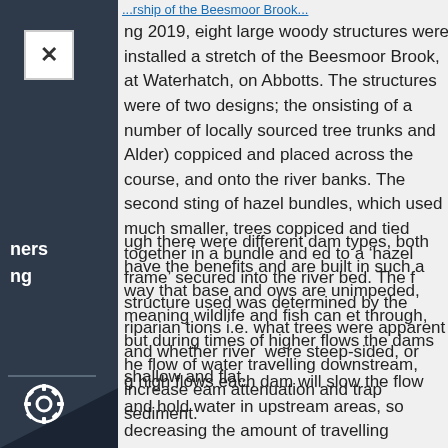...rship of the Beesmoor Brook...
ng 2019, eight large woody structures were installed a stretch of the Beesmoor Brook, at Waterhatch, on Abbotts. The structures were of two designs; the onsisting of a number of locally sourced tree trunks and Alder) coppiced and placed across the course, and onto the river banks. The second sting of hazel bundles, which used much smaller, trees coppiced and tied together in a bundle and ed to a 'hazel frame' secured into the river bed. The f structure used was determined by the riparian tions i.e. what trees were apparent and whether river were steep-sided, or shallow and flat.
ugh there were different dam types, both have the benefits and are built in such a way that base and ows are unimpeded, meaning wildlife and fish can et through, but during times of higher flows the dams he flow of water travelling downstream, increase eam attenuation and trap sediment.
g high flows each dam will slow the flow and hold water in upstream areas, so decreasing the amount of travelling downstream. Collectively with other NFM within the catchment this will reduce flooding for